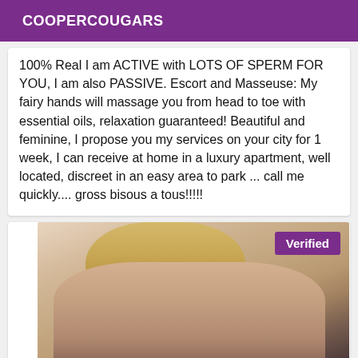COOPERCOUGARS
100% Real I am ACTIVE with LOTS OF SPERM FOR YOU, I am also PASSIVE. Escort and Masseuse: My fairy hands will massage you from head to toe with essential oils, relaxation guaranteed! Beautiful and feminine, I propose you my services on your city for 1 week, I can receive at home in a luxury apartment, well located, discreet in an easy area to park ... call me quickly.... gross bisous a tous!!!!!
[Figure (photo): Photo of a blonde woman from behind wearing white lingerie, with a Verified badge in the top right corner]